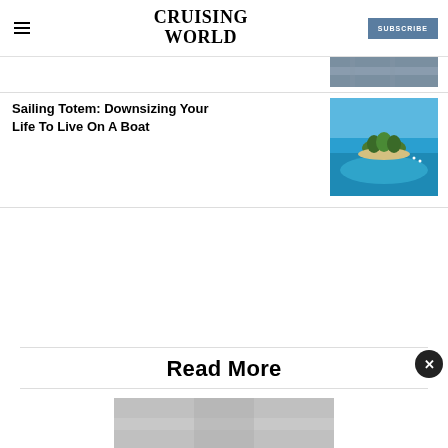CRUISING WORLD | SUBSCRIBE
[Figure (photo): Partial view of a boat photo thumbnail at top right, partially visible]
Sailing Totem: Downsizing Your Life To Live On A Boat
[Figure (photo): Aerial photograph of a small tropical island surrounded by turquoise water with coral reefs visible]
Read More
[Figure (photo): Partial bottom image, appears to be a boat or marine scene, mostly cropped]